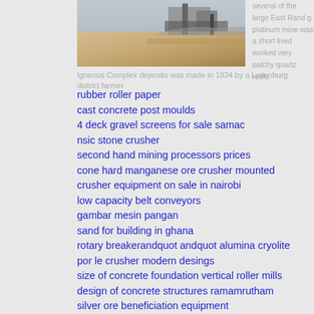[Figure (photo): Photograph of a mining/crushing facility with sandy terrain and industrial machinery in the background]
several of the large East Rand g platinum mine was a short lived worked very patchy quartz reefs
Igneous Complex deposits was made in 1924 by a Lydenburg district farmer
rubber roller paper
cast concrete post moulds
4 deck gravel screens for sale samac
nsic stone crusher
second hand mining processors prices
cone hard manganese ore crusher mounted
crusher equipment on sale in nairobi
low capacity belt conveyors
gambar mesin pangan
sand for building in ghana
rotary breakerandquot andquot alumina cryolite
por le crusher modern desings
size of concrete foundation vertical roller mills
design of concrete structures ramamrutham
silver ore beneficiation equipment
iron ore handling plant operation
crushering construction companies in florida